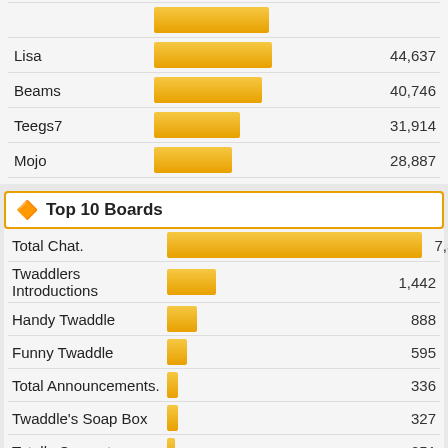[Figure (bar-chart): Top Users (partial)]
Top 10 Boards
[Figure (bar-chart): Top 10 Boards]
Top 10 Topics (by Replies)
[Figure (bar-chart): Top 10 Topics (by Replies)]